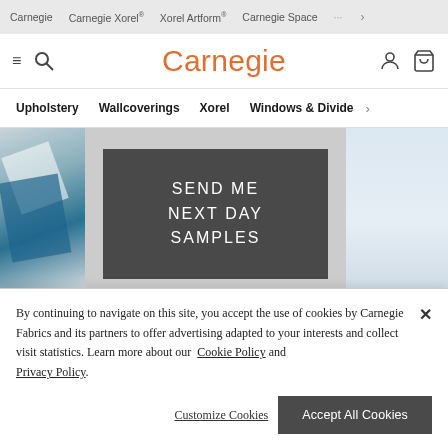Carnegie  Carnegie Xorel  Xorel Artform  Carnegie Space  >
[Figure (screenshot): Carnegie website main header with hamburger menu, search icon, Carnegie logo in orange, user icon, and shopping cart icon]
Upholstery  Wallcoverings  Xorel  Windows & Divide  >
[Figure (photo): Hero banner with fabric swatches on left, dark grey box reading SEND ME NEXT DAY SAMPLES in center, light blue panel on right]
By continuing to navigate on this site, you accept the use of cookies by Carnegie Fabrics and its partners to offer advertising adapted to your interests and collect visit statistics. Learn more about our Cookie Policy and Privacy Policy.
Customize Cookies
Accept All Cookies